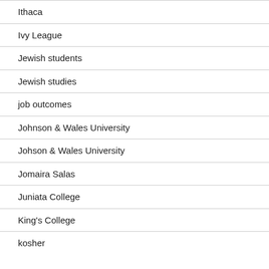Ithaca
Ivy League
Jewish students
Jewish studies
job outcomes
Johnson & Wales University
Johson & Wales University
Jomaira Salas
Juniata College
King's College
kosher